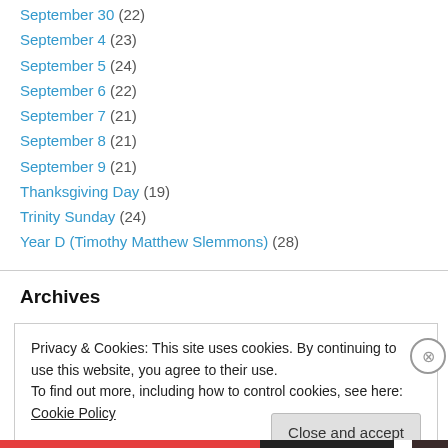September 30 (22)
September 4 (23)
September 5 (24)
September 6 (22)
September 7 (21)
September 8 (21)
September 9 (21)
Thanksgiving Day (19)
Trinity Sunday (24)
Year D (Timothy Matthew Slemmons) (28)
Archives
Privacy & Cookies: This site uses cookies. By continuing to use this website, you agree to their use.
To find out more, including how to control cookies, see here: Cookie Policy